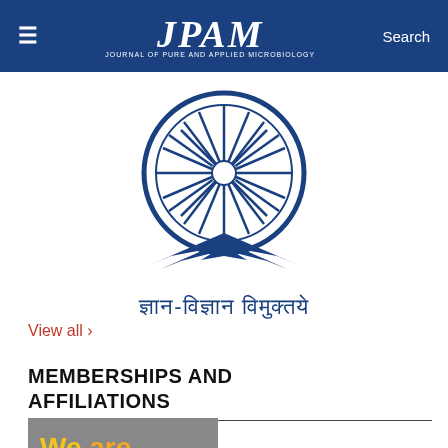≡  JPAM  Search
[Figure (logo): Ashoka chakra emblem with open book and Hindi text: ज्ञान-विज्ञान विमुक्तये]
View all ›
MEMBERSHIPS AND AFFILIATIONS
[Figure (illustration): Gray banner with yellow 'We' and orange 'are' text — partial view of a 'We are' membership badge]